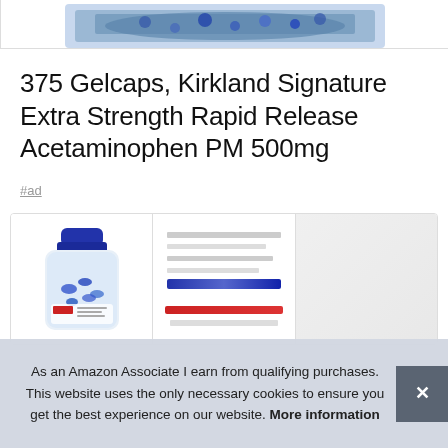[Figure (photo): Top portion of a product image showing blue gelcaps/pills in a container]
375 Gelcaps, Kirkland Signature Extra Strength Rapid Release Acetaminophen PM 500mg
#ad
[Figure (photo): Three product thumbnail images side by side showing the Kirkland Signature Acetaminophen PM bottle from different angles]
As an Amazon Associate I earn from qualifying purchases. This website uses the only necessary cookies to ensure you get the best experience on our website. More information